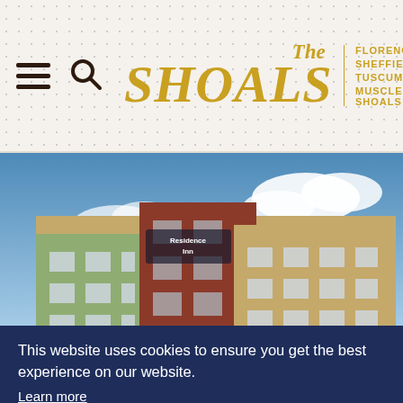The Shoals — Florence, Sheffield, Tuscumbia, Muscle Shoals
[Figure (photo): Exterior photo of a Residence Inn / hotel building with red brick and tan facade, multi-story, against a blue sky with white clouds]
This website uses cookies to ensure you get the best experience on our website.
Learn more
Got it!